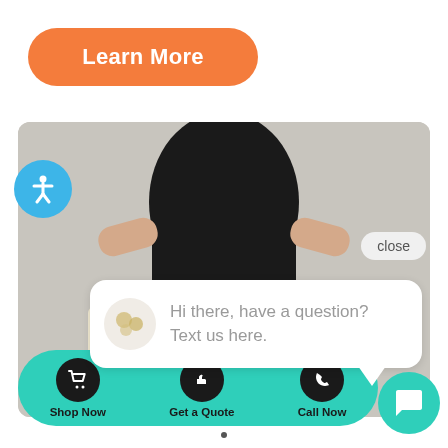[Figure (screenshot): Orange rounded rectangle button labeled Learn More in white bold text]
[Figure (screenshot): Website UI screenshot showing a person pulling out empty pockets, an accessibility button (blue circle with person icon), a close button, a chat bubble saying 'Hi there, have a question? Text us here.', and a teal bottom action bar with Shop Now, Get a Quote, Call Now buttons and a teal chat widget circle]